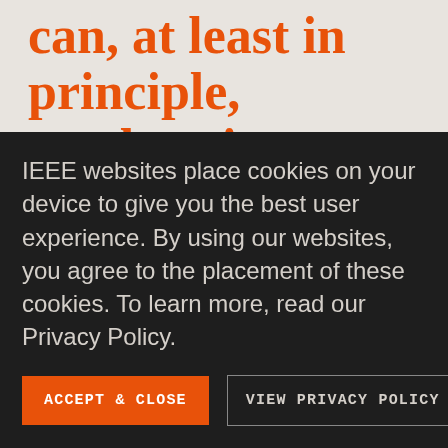can, at least in principle, produce images of structures smaller than 2 nm.
In these experiments, we were able to use PyXL to peel away each layer of interconnects virtually to reveal the circuits they form. As an early test, we inserted a small
IEEE websites place cookies on your device to give you the best user experience. By using our websites, you agree to the placement of these cookies. To learn more, read our Privacy Policy.
ACCEPT & CLOSE
VIEW PRIVACY POLICY